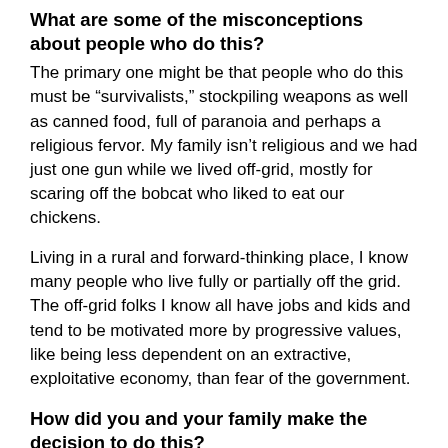What are some of the misconceptions about people who do this?
The primary one might be that people who do this must be “survivalists,” stockpiling weapons as well as canned food, full of paranoia and perhaps a religious fervor. My family isn’t religious and we had just one gun while we lived off-grid, mostly for scaring off the bobcat who liked to eat our chickens.
Living in a rural and forward-thinking place, I know many people who live fully or partially off the grid. The off-grid folks I know all have jobs and kids and tend to be motivated more by progressive values, like being less dependent on an extractive, exploitative economy, than fear of the government.
How did you and your family make the decision to do this?